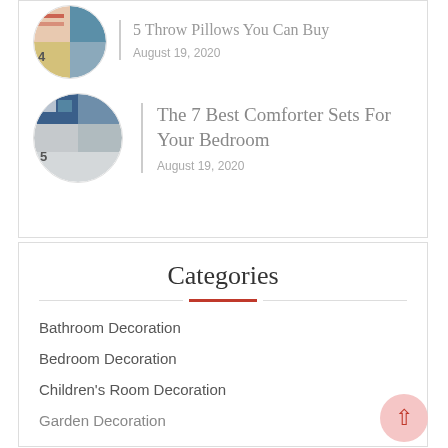[Figure (photo): Circular collage image numbered 4, showing throw pillows]
5 Throw Pillows You Can Buy
August 19, 2020
[Figure (photo): Circular collage image numbered 5, showing comforter sets]
The 7 Best Comforter Sets For Your Bedroom
August 19, 2020
Categories
Bathroom Decoration
Bedroom Decoration
Children's Room Decoration
Garden Decoration